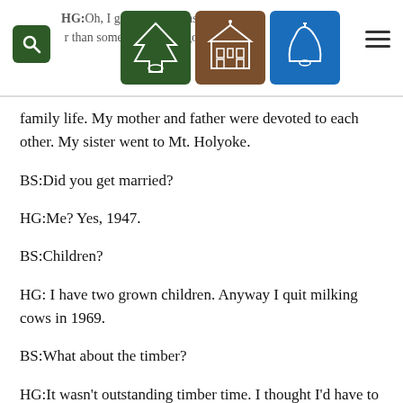HG:Oh, I guess as good as any, and better than some. We had a good family life. My mother and father were devoted to each other. My sister went to Mt. Holyoke.
BS:Did you get married?
HG:Me? Yes, 1947.
BS:Children?
HG: I have two grown children. Anyway I quit milking cows in 1969.
BS:What about the timber?
HG:It wasn't outstanding timber time. I thought I'd have to sell the place, but I didn't. I got a good